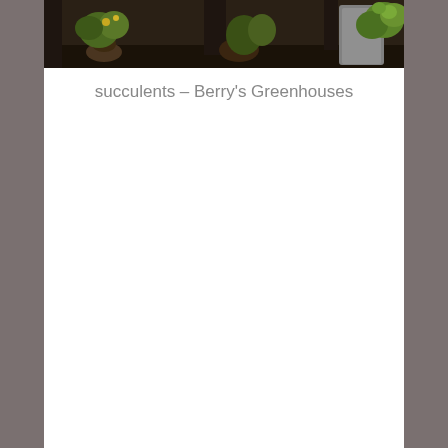[Figure (photo): Interior greenhouse/store scene showing succulents and potted plants on display shelves, dark background with green plants visible]
succulents – Berry's Greenhouses